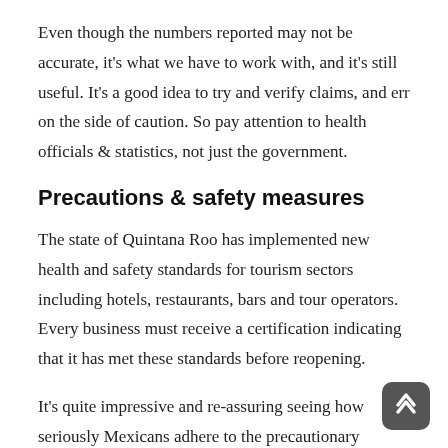Even though the numbers reported may not be accurate, it's what we have to work with, and it's still useful. It's a good idea to try and verify claims, and err on the side of caution. So pay attention to health officials & statistics, not just the government.
Precautions & safety measures
The state of Quintana Roo has implemented new health and safety standards for tourism sectors including hotels, restaurants, bars and tour operators. Every business must receive a certification indicating that it has met these standards before reopening.
It's quite impressive and re-assuring seeing how seriously Mexicans adhere to the precautionary measures set by the government. As a tourist, you'll find it comforting to know